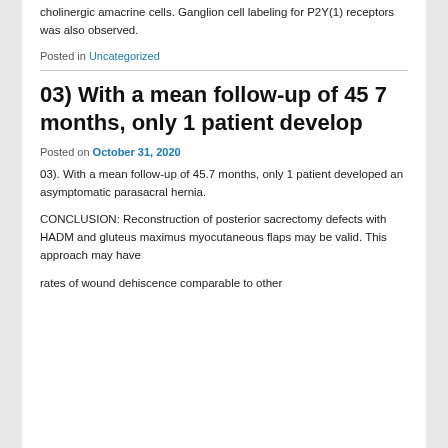cholinergic amacrine cells. Ganglion cell labeling for P2Y(1) receptors was also observed.
Posted in Uncategorized
03) With a mean follow-up of 45 7 months, only 1 patient develop
Posted on October 31, 2020
03). With a mean follow-up of 45.7 months, only 1 patient developed an asymptomatic parasacral hernia.
CONCLUSION: Reconstruction of posterior sacrectomy defects with HADM and gluteus maximus myocutaneous flaps may be valid. This approach may have
rates of wound dehiscence comparable to other